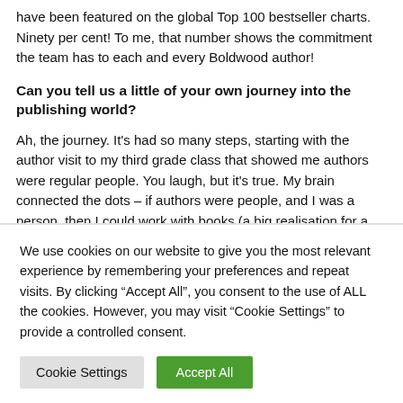have been featured on the global Top 100 bestseller charts. Ninety per cent! To me, that number shows the commitment the team has to each and every Boldwood author!
Can you tell us a little of your own journey into the publishing world?
Ah, the journey. It's had so many steps, starting with the author visit to my third grade class that showed me authors were regular people. You laugh, but it's true. My brain connected the dots – if authors were people, and I was a person, then I could work with books (a big realisation for a girl from a small fishing village on the
We use cookies on our website to give you the most relevant experience by remembering your preferences and repeat visits. By clicking "Accept All", you consent to the use of ALL the cookies. However, you may visit "Cookie Settings" to provide a controlled consent.